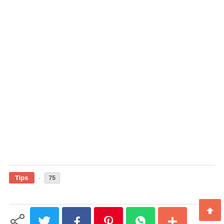[Figure (screenshot): White empty space area at the top of the page]
Tips · 75
[Figure (infographic): Social sharing buttons row: share icon, Twitter (blue), Facebook (dark blue), Pinterest (red), WhatsApp (green), More (orange-red). Back to top arrow button in coral/red on the right.]